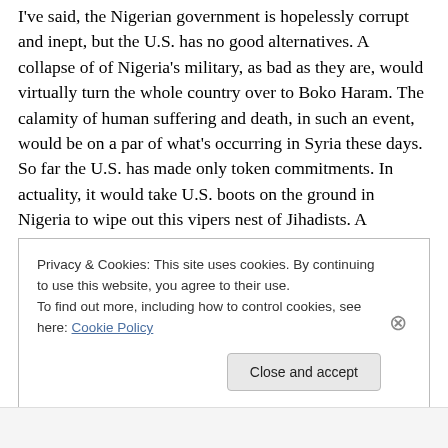I've said, the Nigerian government is hopelessly corrupt and inept, but the U.S. has no good alternatives. A collapse of of Nigeria's military, as bad as they are, would virtually turn the whole country over to Boko Haram. The calamity of human suffering and death, in such an event, would be on a par of what's occurring in Syria these days. So far the U.S. has made only token commitments. In actuality, it would take U.S. boots on the ground in Nigeria to wipe out this vipers nest of Jihadists. A commitment that our present Administration would highly disfavor. After all, who wants to view Americans coming home in body bags
Privacy & Cookies: This site uses cookies. By continuing to use this website, you agree to their use.
To find out more, including how to control cookies, see here: Cookie Policy